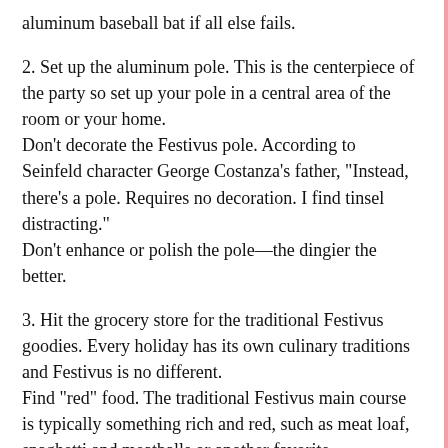aluminum baseball bat if all else fails.
2. Set up the aluminum pole. This is the centerpiece of the party so set up your pole in a central area of the room or your home.
Don’t decorate the Festivus pole. According to Seinfeld character George Costanza’s father, “Instead, there’s a pole. Requires no decoration. I find tinsel distracting.”
Don’t enhance or polish the pole—the dingier the better.
3. Hit the grocery store for the traditional Festivus goodies. Every holiday has its own culinary traditions and Festivus is no different.
Find “red” food. The traditional Festivus main course is typically something rich and red, such as meat loaf, spaghetti and meatballs or another favorite, “Beefarino.”
Select side dishes which can include tuna on toast, soup (like bouillabaisse, mulligatawny or turkey chili), airline peanuts and pretzels.